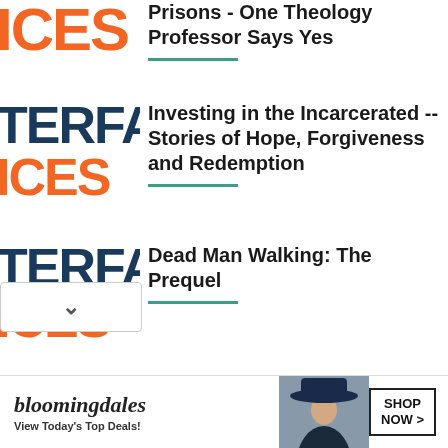Prisons - One Theology Professor Says Yes
Investing in the Incarcerated -- Stories of Hope, Forgiveness and Redemption
Dead Man Walking: The Prequel
[Figure (other): Bloomingdale's advertisement banner with logo text, 'View Today's Top Deals!', fashion photo, and 'SHOP NOW >' button]